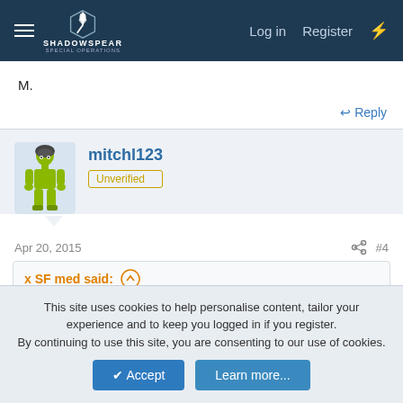ShadowSpear Special Operations — Log in | Register
M.
↩ Reply
mitchl123
Unverified
Apr 20, 2015  #4
x SF med said: ⬆
Welcome, but I'm confused.... have you been through the PJ pipeline and are looking for a unit, or are you waiting for training and a unit?
This site uses cookies to help personalise content, tailor your experience and to keep you logged in if you register.
By continuing to use this site, you are consenting to our use of cookies.
✔ Accept   Learn more...